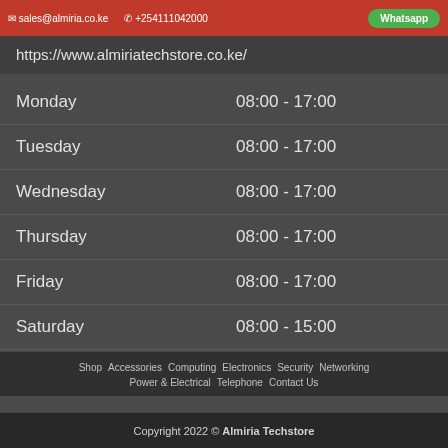sales@almiria.co.ke  +254111042000  Whatsapp
https://www.almiriatechstore.co.ke/
| Day | Hours |
| --- | --- |
| Monday | 08:00 - 17:00 |
| Tuesday | 08:00 - 17:00 |
| Wednesday | 08:00 - 17:00 |
| Thursday | 08:00 - 17:00 |
| Friday | 08:00 - 17:00 |
| Saturday | 08:00 - 15:00 |
| Sunday | Closed |
Shop  Accessories  Computing  Electronics  Security  Networking  Power & Electrical  Telephone  Contact Us
Copyright 2022 © Almiria Techstore